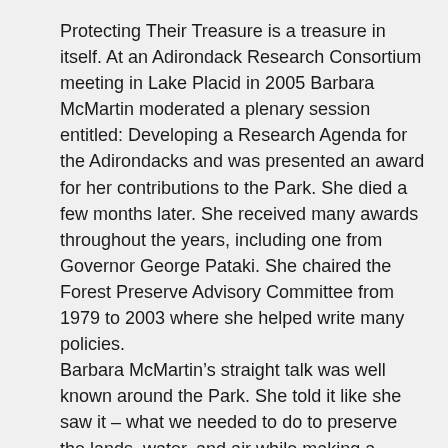Protecting Their Treasure is a treasure in itself. At an Adirondack Research Consortium meeting in Lake Placid in 2005 Barbara McMartin moderated a plenary session entitled: Developing a Research Agenda for the Adirondacks and was presented an award for her contributions to the Park. She died a few months later. She received many awards throughout the years, including one from Governor George Pataki. She chaired the Forest Preserve Advisory Committee from 1979 to 2003 where she helped write many policies.
Barbara McMartin’s straight talk was well known around the Park. She told it like she saw it – what we needed to do to preserve the lands, water, and air while making a greater piece of the Park available to more people.